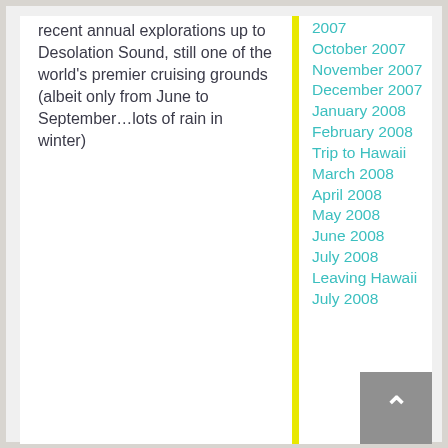recent annual explorations up to Desolation Sound, still one of the world's premier cruising grounds (albeit only from June to September…lots of rain in winter)
2007
October 2007
November 2007
December 2007
January 2008
February 2008
Trip to Hawaii
March 2008
April 2008
May 2008
June 2008
July 2008
Leaving Hawaii
July 2008